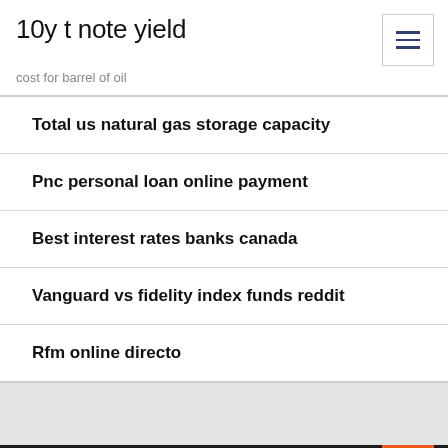10y t note yield
cost for barrel of oil
Total us natural gas storage capacity
Pnc personal loan online payment
Best interest rates banks canada
Vanguard vs fidelity index funds reddit
Rfm online directo
Top Stor...